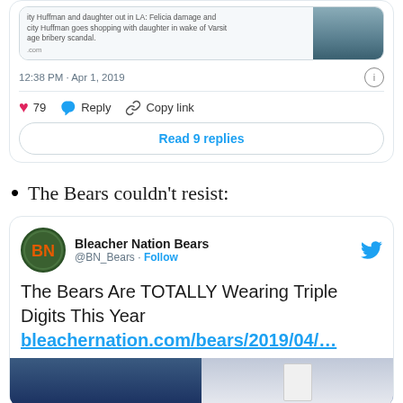[Figure (screenshot): Top portion of a tweet card showing a news link preview with text about Felicity Huffman and daughter going shopping in wake of Varsity bribery scandal, with a photo thumbnail, timestamp 12:38 PM Apr 1 2019, like count 79, Reply, Copy link actions, and Read 9 replies button]
The Bears couldn't resist:
[Figure (screenshot): Tweet from Bleacher Nation Bears @BN_Bears with text 'The Bears Are TOTALLY Wearing Triple Digits This Year bleachernation.com/bears/2019/04/...' with image preview of sports figures]